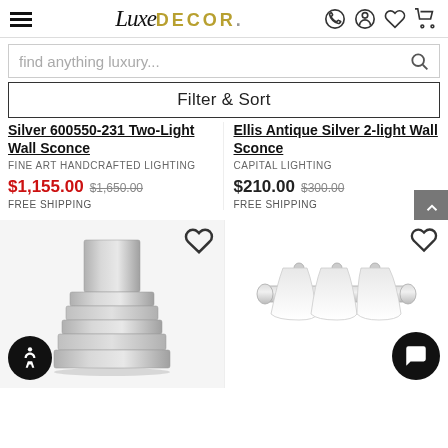LuxeDECOR
find anything luxury...
Filter & Sort
Silver 600550-231 Two-Light Wall Sconce
FINE ART HANDCRAFTED LIGHTING
$1,155.00  $1,650.00
FREE SHIPPING
Ellis Antique Silver 2-light Wall Sconce
CAPITAL LIGHTING
$210.00  $300.00
FREE SHIPPING
[Figure (photo): Brushed nickel square layered wall sconce]
[Figure (photo): Chrome 3-light vanity bar with white bell shades]